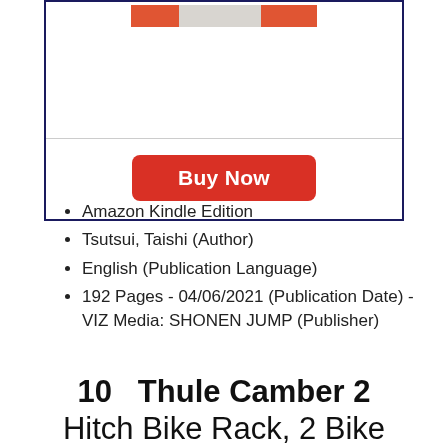[Figure (other): Top portion of a product card with a book cover image strip and a red Buy Now button, enclosed in a dark navy border]
Amazon Kindle Edition
Tsutsui, Taishi (Author)
English (Publication Language)
192 Pages - 04/06/2021 (Publication Date) - VIZ Media: SHONEN JUMP (Publisher)
10  Thule Camber 2 Hitch Bike Rack, 2 Bike